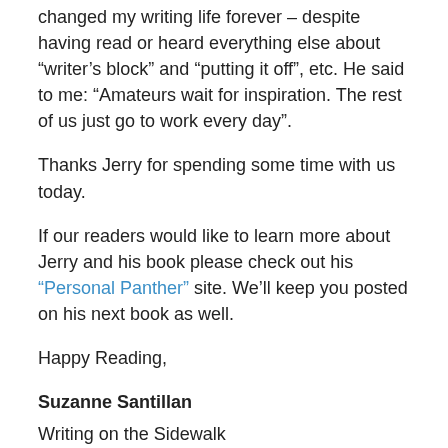changed my writing life forever – despite having read or heard everything else about “writer’s block” and “putting it off”, etc. He said to me: “Amateurs wait for inspiration. The rest of us just go to work every day”.
Thanks Jerry for spending some time with us today.
If our readers would like to learn more about Jerry and his book please check out his “Personal Panther” site. We’ll keep you posted on his next book as well.
Happy Reading,
Suzanne Santillan
Writing on the Sidewalk
Share this: